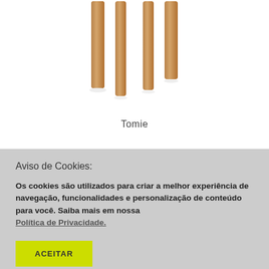[Figure (photo): Partial view of a wooden chair or stool with light wood legs on a white background, cropped at top]
Tomie
Aviso de Cookies:
Os cookies são utilizados para criar a melhor experiência de navegação, funcionalidades e personalização de conteúdo para você. Saiba mais em nossa Política de Privacidade.
ACEITAR